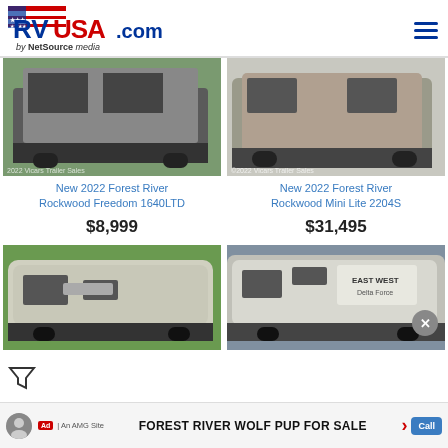RVUSA.com by NetSource media
[Figure (photo): Pop-up camper trailer, 2022 Vicars Trailer Sales]
New 2022 Forest River Rockwood Freedom 1640LTD
$8,999
[Figure (photo): Travel trailer, 2022 Vicars Trailer Sales, Forest River Rockwood Mini Lite]
New 2022 Forest River Rockwood Mini Lite 2204S
$31,495
[Figure (photo): Small travel trailer on green field]
[Figure (photo): East to West Delta Force travel trailer]
FOREST RIVER WOLF PUP FOR SALE
Ad | An AMG Site